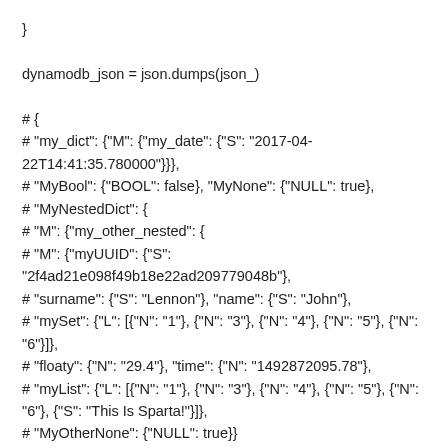}
dynamodb_json = json.dumps(json_)
# {
# "my_dict": {"M": {"my_date": {"S": "2017-04-22T14:41:35.780000"}}},
# "MyBool": {"BOOL": false}, "MyNone": {"NULL": true},
# "MyNestedDict": {
# "M": {"my_other_nested": {
# "M": {"myUUID": {"S":
# "2f4ad21e098f49b18e22ad209779048b"},
# "surname": {"S": "Lennon"}, "name": {"S": "John"},
# "mySet": {"L": [{"N": "1"}, {"N": "3"}, {"N": "4"}, {"N": "5"}, {"N": "6"}]},
# "floaty": {"N": "29.4"}, "time": {"N": "1492872095.78"},
# "myList": {"L": [{"N": "1"}, {"N": "3"}, {"N": "4"}, {"N": "5"}, {"N": "6"}, {"S": "This Is Sparta!"}]},
# "MyOtherNone": {"NULL": true}}
# }